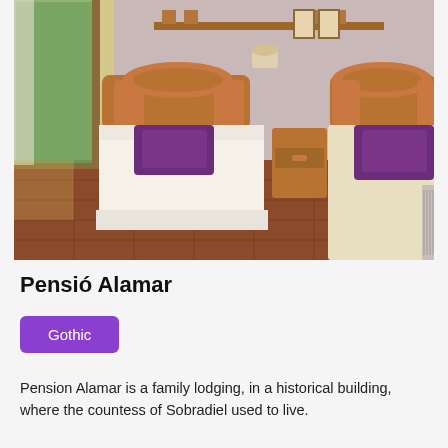[Figure (photo): Interior photo of a pension room showing two single beds with white bedspreads and purple/maroon decorative pillows, wooden headboards, a small wooden nightstand between the beds, a wall-mounted light fixture, shelves with framed pictures above the headboards on a mauve/pink wall, terracotta tile floor, and a glass door/window to the left letting in natural light.]
Pensió Alamar
Gothic
Pension Alamar is a family lodging, in a historical building, where the countess of Sobradiel used to live.